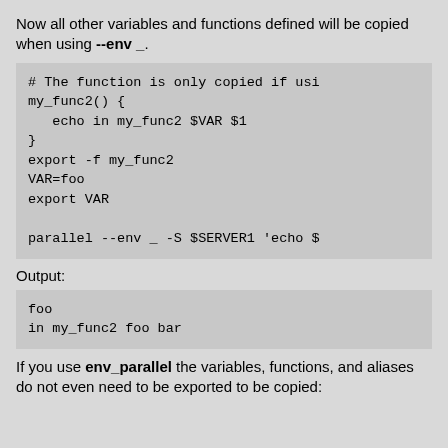Now all other variables and functions defined will be copied when using --env _.
# The function is only copied if usi
my_func2() {
   echo in my_func2 $VAR $1
}
export -f my_func2
VAR=foo
export VAR

parallel --env _ -S $SERVER1 'echo $
Output:
foo
in my_func2 foo bar
If you use env_parallel the variables, functions, and aliases do not even need to be exported to be copied: